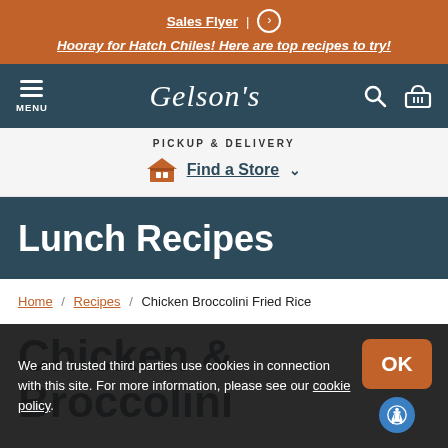Sales Flyer | Hooray for Hatch Chiles! Here are top recipes to try!
[Figure (logo): Gelson's grocery store navigation bar with hamburger menu, Gelson's script logo, search and cart icons]
PICKUP & DELIVERY Find a Store
Lunch Recipes
Home / Recipes / Chicken Broccolini Fried Rice
Chicken & Broccolini
We and trusted third parties use cookies in connection with this site. For more information, please see our cookie policy.